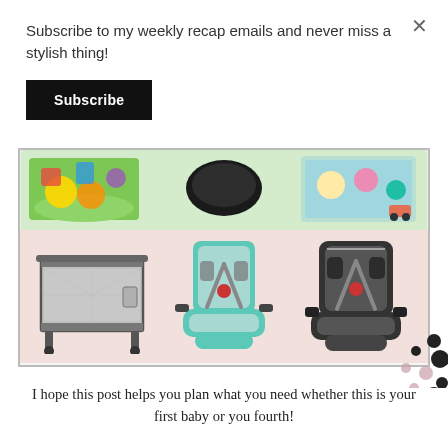Subscribe to my weekly recap emails and never miss a stylish thing!
Subscribe
[Figure (photo): Collage image showing baby/toddler gear: colorful play mats on top row, and a pack-n-play portable crib plus two convertible car seats (one teal/grey, one dark grey) on a pink background bottom row, with 'ashley dorielle blog' watermark text and decorative black and mauve polka dots]
I hope this post helps you plan what you need whether this is your first baby or you fourth!